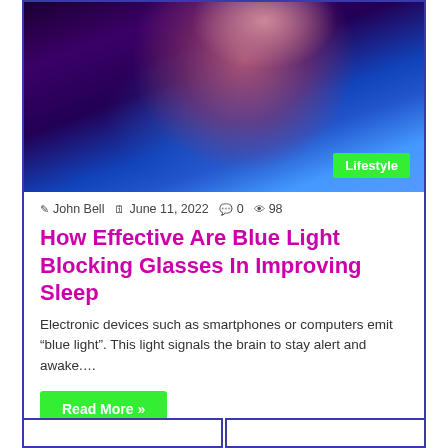[Figure (photo): Woman's face illuminated by blue light from a screen, dark background with blue/purple tones]
Lifestyle
✎ John Bell  📅 June 11, 2022  💬 0  👁 98
How Effective Are Blue Light Blocking Glasses In Improving Sleep
Electronic devices such as smartphones or computers emit âblue lightâ. This light signals the brain to stay alert and awake….
Read More »
Previous
Next